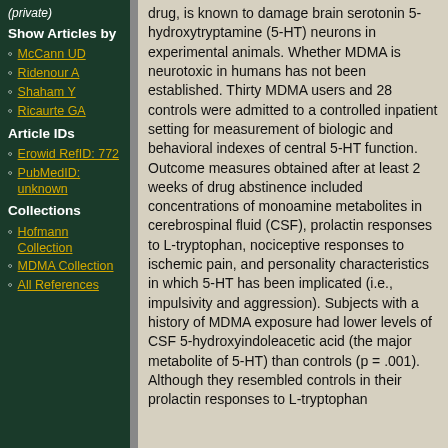(private)
Show Articles by
McCann UD
Ridenour A
Shaham Y
Ricaurte GA
Article IDs
Erowid RefID: 772
PubMedID: unknown
Collections
Hofmann Collection
MDMA Collection
All References
drug, is known to damage brain serotonin 5-hydroxytryptamine (5-HT) neurons in experimental animals. Whether MDMA is neurotoxic in humans has not been established. Thirty MDMA users and 28 controls were admitted to a controlled inpatient setting for measurement of biologic and behavioral indexes of central 5-HT function. Outcome measures obtained after at least 2 weeks of drug abstinence included concentrations of monoamine metabolites in cerebrospinal fluid (CSF), prolactin responses to L-tryptophan, nociceptive responses to ischemic pain, and personality characteristics in which 5-HT has been implicated (i.e., impulsivity and aggression). Subjects with a history of MDMA exposure had lower levels of CSF 5-hydroxyindoleacetic acid (the major metabolite of 5-HT) than controls (p = .001). Although they resembled controls in their prolactin responses to L-tryptophan...